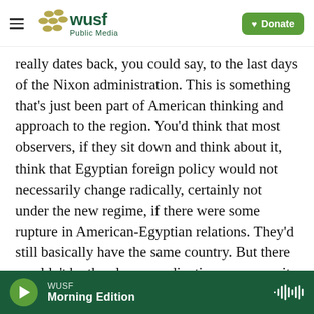WUSF Public Media | Donate
really dates back, you could say, to the last days of the Nixon administration. This is something that's just been part of American thinking and approach to the region. You'd think that most observers, if they sit down and think about it, think that Egyptian foreign policy would not necessarily change radically, certainly not under the new regime, if there were some rupture in American-Egyptian relations. They'd still basically have the same country. But there wouldn't be the close coordination over security issues.

MONTAGNE: Well, give us two or three examples of
WUSF Morning Edition